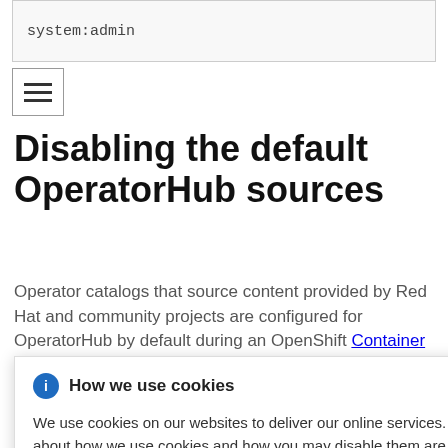system:admin
Disabling the default OperatorHub sources
Operator catalogs that source content provided by Red Hat and community projects are configured for OperatorHub by default during an OpenShift Container Platform installation. In a restricted network
catalogs as
How we use cookies — We use cookies on our websites to deliver our online services. Details about how we use cookies and how you may disable them are set out in our Privacy Statement. By using this website you agree to our use of cookies.
atalogs by
: true to